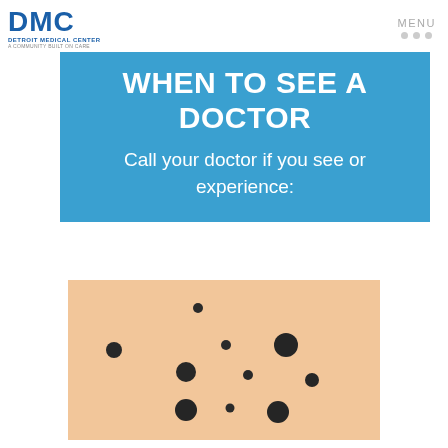DMC DETROIT MEDICAL CENTER A COMMUNITY BUILT ON CARE | MENU
WHEN TO SEE A DOCTOR
Call your doctor if you see or experience:
[Figure (illustration): Skin illustration showing multiple dark spots/moles of varying sizes on a peach/skin-toned background, representing skin conditions to watch for.]